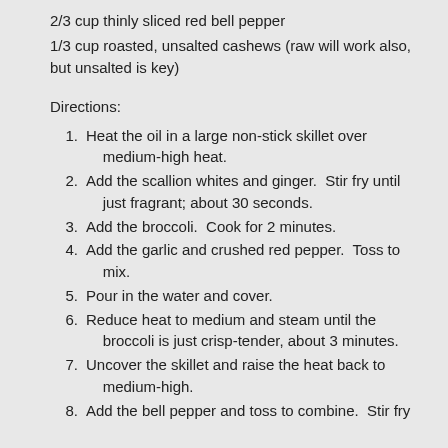2/3 cup thinly sliced red bell pepper
1/3 cup roasted, unsalted cashews (raw will work also, but unsalted is key)
Directions:
1. Heat the oil in a large non-stick skillet over medium-high heat.
2. Add the scallion whites and ginger.  Stir fry until just fragrant; about 30 seconds.
3. Add the broccoli.  Cook for 2 minutes.
4. Add the garlic and crushed red pepper.  Toss to mix.
5. Pour in the water and cover.
6. Reduce heat to medium and steam until the broccoli is just crisp-tender, about 3 minutes.
7. Uncover the skillet and raise the heat back to medium-high.
8. Add the bell pepper and toss to combine.  Stir fry